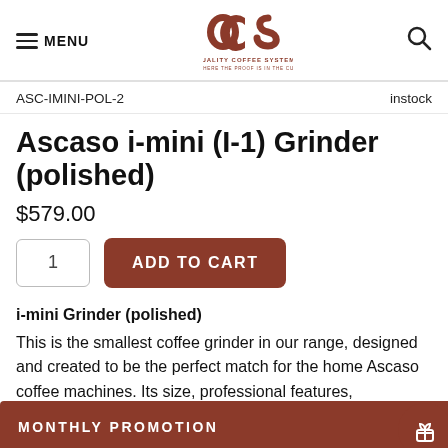MENU | QCS QUALITY COFFEE SYSTEMS — WHERE THE PROOF IS IN THE CUP
ASC-IMINI-POL-2    instock
Ascaso i-mini (I-1) Grinder (polished)
$579.00
1  ADD TO CART
i-mini Grinder (polished)
This is the smallest coffee grinder in our range, designed and created to be the perfect match for the home Ascaso coffee machines. Its size, professional features, [MONTHLY PROMOTION] for home but for professional establishments that work with